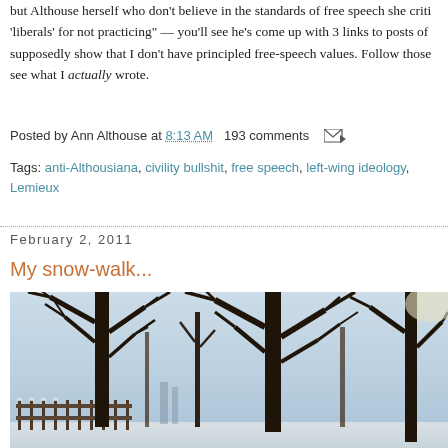but Althouse herself who don't believe in the standards of free speech she criticizes 'liberals' for not practicing" — you'll see he's come up with 3 links to posts of supposedly show that I don't have principled free-speech values. Follow those see what I actually wrote.
Posted by Ann Althouse at 8:13 AM   193 comments
Tags: anti-Althousiana, civility bullshit, free speech, left-wing ideology, Lemieux
February 2, 2011
My snow-walk...
[Figure (photo): Outdoor winter scene showing bare deciduous trees with snow, bright overcast sky, and a fence visible on the left side.]